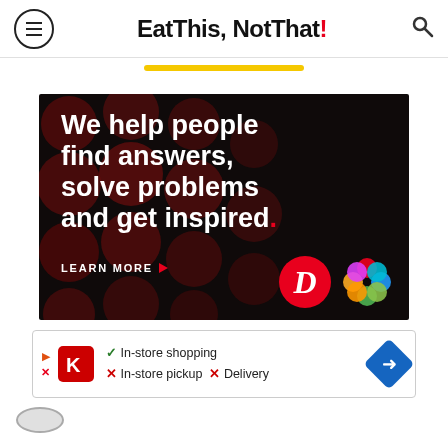Eat This, Not That!
[Figure (illustration): Advertisement banner with dark background and red bokeh dots. Text reads: 'We help people find answers, solve problems and get inspired.' with a red period. 'LEARN MORE' with arrow. Logos for Dotdash and Meredith shown.]
[Figure (screenshot): Advertisement for Kroger showing checkmarks and Xs for in-store shopping, in-store pickup, and delivery options.]